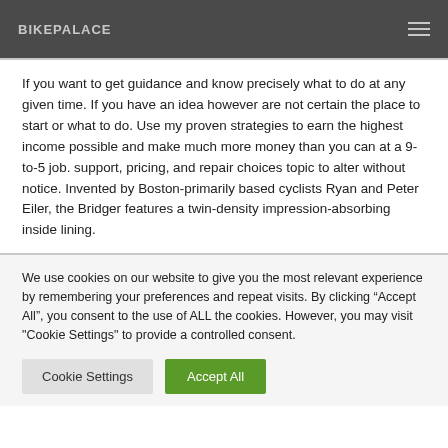BIKEPALACE
If you want to get guidance and know precisely what to do at any given time. If you have an idea however are not certain the place to start or what to do. Use my proven strategies to earn the highest income possible and make much more money than you can at a 9-to-5 job. support, pricing, and repair choices topic to alter without notice. Invented by Boston-primarily based cyclists Ryan and Peter Eiler, the Bridger features a twin-density impression-absorbing inside lining.
We use cookies on our website to give you the most relevant experience by remembering your preferences and repeat visits. By clicking “Accept All”, you consent to the use of ALL the cookies. However, you may visit "Cookie Settings" to provide a controlled consent.